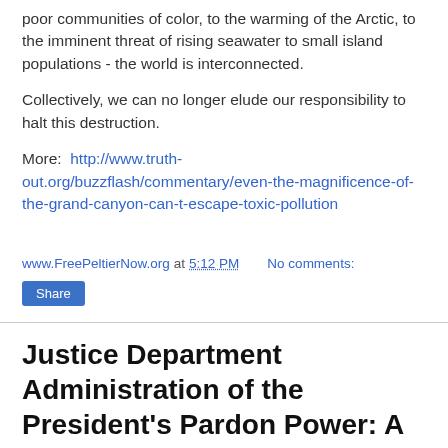poor communities of color, to the warming of the Arctic, to the imminent threat of rising seawater to small island populations - the world is interconnected.
Collectively, we can no longer elude our responsibility to halt this destruction.
More:  http://www.truth-out.org/buzzflash/commentary/even-the-magnificence-of-the-grand-canyon-can-t-escape-toxic-pollution
www.FreePeltierNow.org at 5:12 PM    No comments:
Share
Justice Department Administration of the President's Pardon Power: A Case Study in Institutional Conflict of Interest